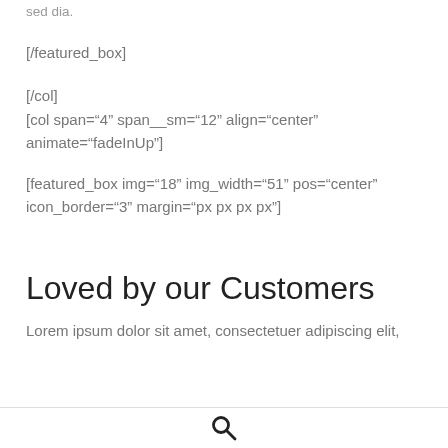sed dia.
[/featured_box]
[/col]
[col span="4" span__sm="12" align="center" animate="fadeInUp"]
[featured_box img="18" img_width="51" pos="center" icon_border="3" margin="px px px px"]
Loved by our Customers
Lorem ipsum dolor sit amet, consectetuer adipiscing elit,